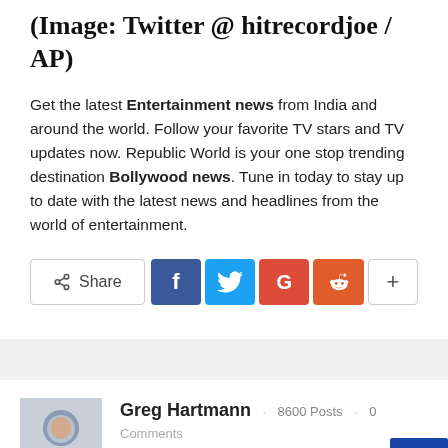(Image: Twitter @ hitrecordjoe / AP)
Get the latest Entertainment news from India and around the world. Follow your favorite TV stars and TV updates now. Republic World is your one stop trending destination Bollywood news. Tune in today to stay up to date with the latest news and headlines from the world of entertainment.
[Figure (other): Social share bar with Share button, Facebook, Twitter, Google+, Reddit, and More buttons]
[Figure (photo): Headshot of Greg Hartmann, male with short brown hair, smiling]
Greg Hartmann · 8600 Posts · 0 Comments